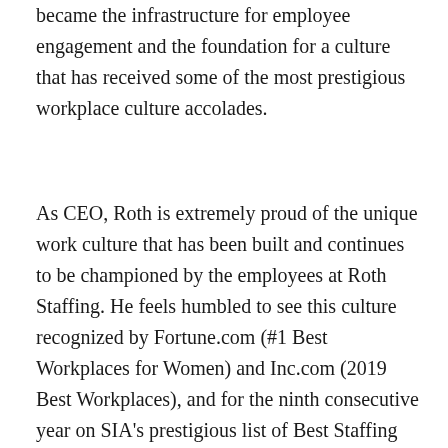became the infrastructure for employee engagement and the foundation for a culture that has received some of the most prestigious workplace culture accolades.
As CEO, Roth is extremely proud of the unique work culture that has been built and continues to be championed by the employees at Roth Staffing. He feels humbled to see this culture recognized by Fortune.com (#1 Best Workplaces for Women) and Inc.com (2019 Best Workplaces), and for the ninth consecutive year on SIA's prestigious list of Best Staffing Firms to Work For.
Roth is driven by the desire to see everyone succeed. He wants every co-worker to feel they are given every